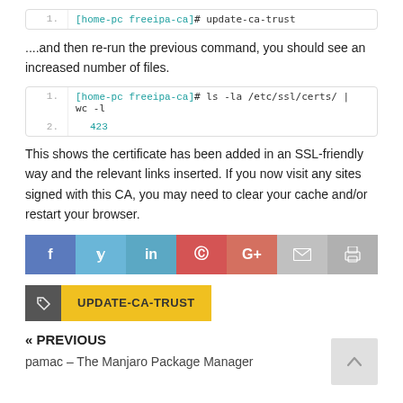[home-pc freeipa-ca]# update-ca-trust
....and then re-run the previous command, you should see an increased number of files.
[home-pc freeipa-ca]# ls -la /etc/ssl/certs/ | wc -l
423
This shows the certificate has been added in an SSL-friendly way and the relevant links inserted. If you now visit any sites signed with this CA, you may need to clear your cache and/or restart your browser.
[Figure (infographic): Social sharing buttons: Facebook, Twitter, LinkedIn, Pinterest, Google+, Email, Print]
UPDATE-CA-TRUST
« PREVIOUS
pamac – The Manjaro Package Manager